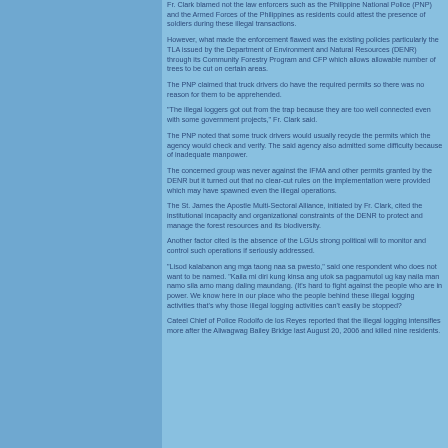Fr. Clark blamed not the law enforcers such as the Philippine National Police (PNP) and the Armed Forces of the Philippines as residents could attest the presence of soldiers during these illegal transactions.
However, what made the enforcement flawed was the existing policies particularly the TLA issued by the Department of Environment and Natural Resources (DENR) through its Community Forestry Program and CFP which allows allowable number of trees to be cut on certain areas.
The PNP claimed that truck drivers do have the required permits so there was no reason for them to be apprehended.
"The illegal loggers got out from the trap because they are too well connected even with some government projects," Fr. Clark said.
The PNP noted that some truck drivers would usually recycle the permits which the agency would check and verify. The said agency also admitted some difficulty because of inadequate manpower.
The concerned group was never against the IFMA and other permits granted by the DENR but it turned out that no clear-cut rules on the implementation were provided which may have spawned even the illegal operations.
The St. James the Apostle Multi-Sectoral Alliance, initiated by Fr. Clark, cited the institutional incapacity and organizational constraints of the DENR to protect and manage the forest resources and its biodiversity.
Another factor cited is the absence of the LGUs strong political will to monitor and control such operations if seriously addressed.
"Lisod kalabanon ang mga taong naa sa pwesto," said one respondent who does not want to be named. "Kaila mi diri kung kinsa ang utok sa pagpamutol ug kay naila man namo sila amo mang daling maundang. (It's hard to fight against the people who are in power. We know here in our place who the people behind these illegal logging activities that's why those illegal logging activities can't easily be stopped?
Cateel Chief of Police Rodolfo de los Reyes reported that the illegal logging intensifies more after the Aliwagwag Bailey Bridge last August 20, 2006 and killed nine residents.